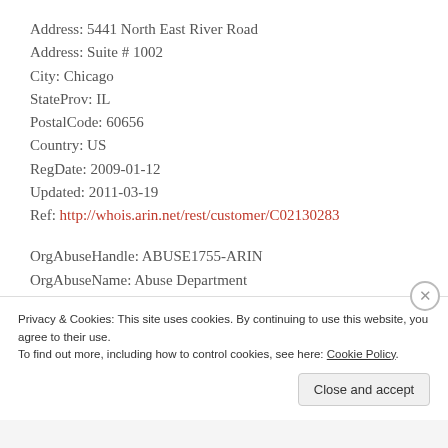Address: 5441 North East River Road
Address: Suite # 1002
City: Chicago
StateProv: IL
PostalCode: 60656
Country: US
RegDate: 2009-01-12
Updated: 2011-03-19
Ref: http://whois.arin.net/rest/customer/C02130283
OrgAbuseHandle: ABUSE1755-ARIN
OrgAbuseName: Abuse Department
OrgAbusePhone: +1-800-296-8915
Privacy & Cookies: This site uses cookies. By continuing to use this website, you agree to their use. To find out more, including how to control cookies, see here: Cookie Policy Close and accept